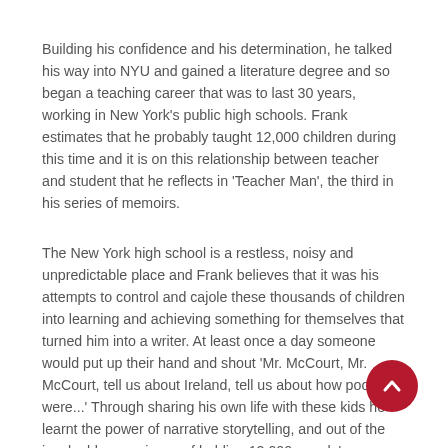Building his confidence and his determination, he talked his way into NYU and gained a literature degree and so began a teaching career that was to last 30 years, working in New York's public high schools. Frank estimates that he probably taught 12,000 children during this time and it is on this relationship between teacher and student that he reflects in 'Teacher Man', the third in his series of memoirs.
The New York high school is a restless, noisy and unpredictable place and Frank believes that it was his attempts to control and cajole these thousands of children into learning and achieving something for themselves that turned him into a writer. At least once a day someone would put up their hand and shout 'Mr. McCourt, Mr. McCourt, tell us about Ireland, tell us about how poor you were...' Through sharing his own life with these kids he learnt the power of narrative storytelling, and out of the invaluable experience of holding 12,000 people's attention came 'Angela's Ashes'.